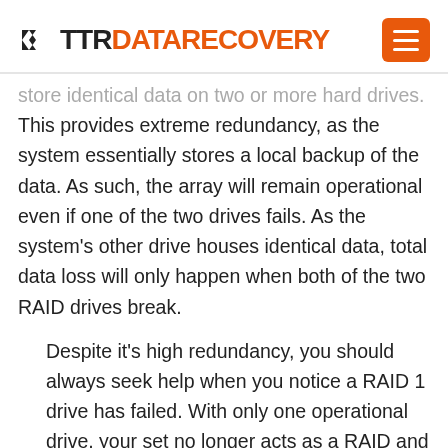TTR DATA RECOVERY
store identical data on two or more hard drives. This provides extreme redundancy, as the system essentially stores a local backup of the data. As such, the array will remain operational even if one of the two drives fails. As the system's other drive houses identical data, total data loss will only happen when both of the two RAID drives break.
Despite it's high redundancy, you should always seek help when you notice a RAID 1 drive has failed. With only one operational drive, your set no longer acts as a RAID and